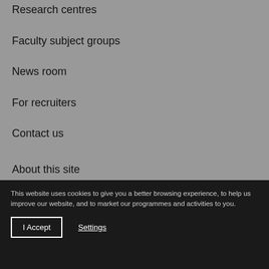Research centres
Faculty subject groups
News room
For recruiters
Contact us
About this site
Privacy policy
Cookies | Cookie control
Accessibility
This website uses cookies to give you a better browsing experience, to help us improve our website, and to market our programmes and activities to you.
I Accept
Settings